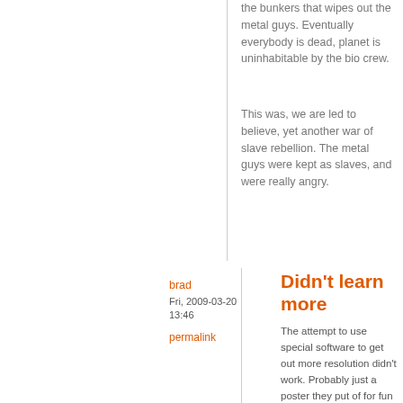the bunkers that wipes out the metal guys. Eventually everybody is dead, planet is uninhabitable by the bio crew.
This was, we are led to believe, yet another war of slave rebellion. The metal guys were kept as slaves, and were really angry.
reply
brad
Fri, 2009-03-20 13:46
permalink
Didn't learn more
The attempt to use special software to get out more resolution didn't work. Probably just a poster they put of for fun and made sure we could not read.